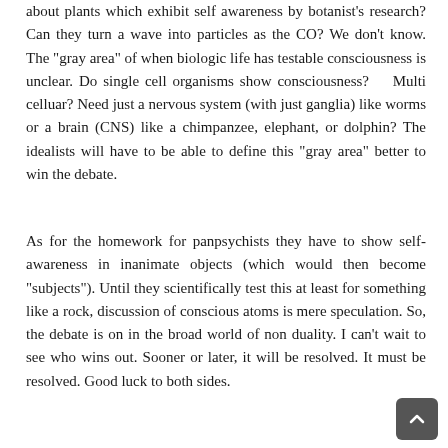about plants which exhibit self awareness by botanist's research? Can they turn a wave into particles as the CO? We don't know. The "gray area" of when biologic life has testable consciousness is unclear. Do single cell organisms show consciousness? Multi celluar? Need just a nervous system (with just ganglia) like worms or a brain (CNS) like a chimpanzee, elephant, or dolphin? The idealists will have to be able to define this "gray area" better to win the debate.
As for the homework for panpsychists they have to show self-awareness in inanimate objects (which would then become "subjects"). Until they scientifically test this at least for something like a rock, discussion of conscious atoms is mere speculation. So, the debate is on in the broad world of non duality. I can't wait to see who wins out. Sooner or later, it will be resolved. It must be resolved. Good luck to both sides.